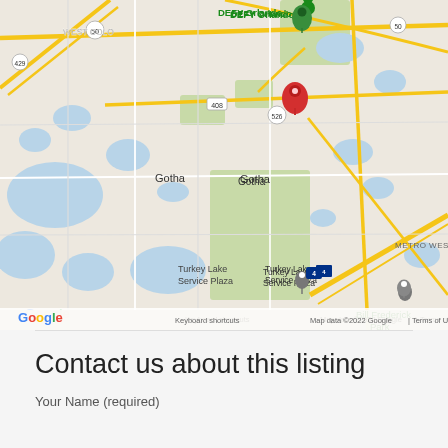[Figure (map): Google Maps screenshot showing Orlando, Florida area. Red pin marker visible near route 526/408 interchange. Landmarks visible include: DEFY Orlando (green pin, top center), Gotha, Orlovista, Turkey Lake Service Plaza, Bill Frederick Park, Metro West, Valencia College West Campus, RD Keene Park, Lake Butler, Bay Hill, Windermere, Kirkman South, Florida Center, Universal (partially visible), Costco Wholesale (partially visible). Map data ©2022 Google. Google logo bottom left. Keyboard shortcuts and Terms of Use links at bottom. Zoom controls (+/-) at bottom right.]
Contact us about this listing
Your Name (required)